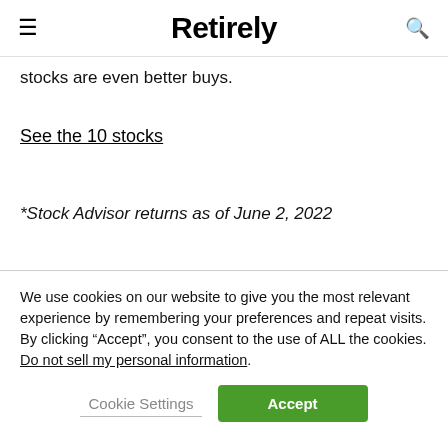Retirely
stocks are even better buys.
See the 10 stocks
*Stock Advisor returns as of June 2, 2022
Charlene Rhinehart, CPA has positions in Caterpillar and Microsoft. The Motley Fool has positions in and recommends Microsoft. The Motley Fool recommends
We use cookies on our website to give you the most relevant experience by remembering your preferences and repeat visits. By clicking “Accept”, you consent to the use of ALL the cookies. Do not sell my personal information.
Cookie Settings
Accept